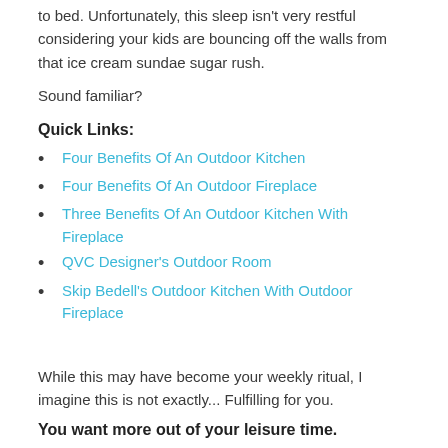to bed. Unfortunately, this sleep isn't very restful considering your kids are bouncing off the walls from that ice cream sundae sugar rush.
Sound familiar?
Quick Links:
Four Benefits Of An Outdoor Kitchen
Four Benefits Of An Outdoor Fireplace
Three Benefits Of An Outdoor Kitchen With Fireplace
QVC Designer's Outdoor Room
Skip Bedell's Outdoor Kitchen With Outdoor Fireplace
While this may have become your weekly ritual, I imagine this is not exactly... Fulfilling for you.
You want more out of your leisure time.